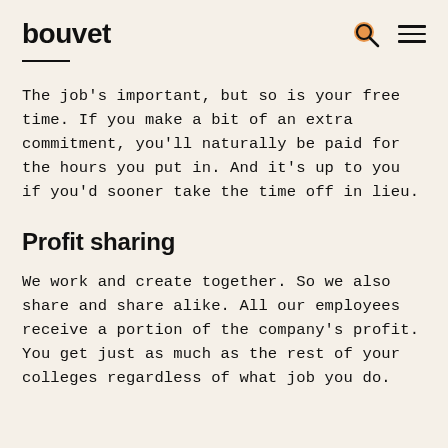bouvet
The job's important, but so is your free time. If you make a bit of an extra commitment, you'll naturally be paid for the hours you put in. And it's up to you if you'd sooner take the time off in lieu.
Profit sharing
We work and create together. So we also share and share alike. All our employees receive a portion of the company's profit. You get just as much as the rest of your colleges regardless of what job you do.